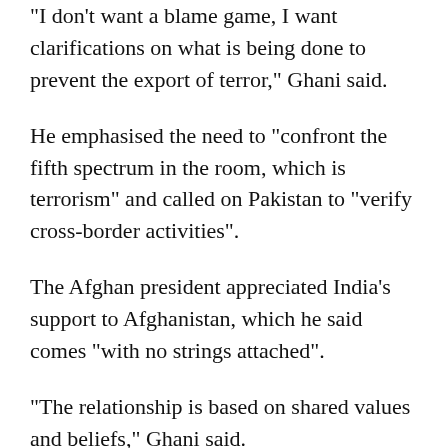“I don’t want a blame game, I want clarifications on what is being done to prevent the export of terror,” Ghani said.
He emphasised the need to “confront the fifth spectrum in the room, which is terrorism” and called on Pakistan to “verify cross-border activities”.
The Afghan president appreciated India’s support to Afghanistan, which he said comes “with no strings attached”.
“The relationship is based on shared values and beliefs,” Ghani said.
Must counter terrorists: Modi
Indian Prime Minister Narendra Modi in his opening remarks termed terrorism “the biggest threat to Afghanistan’s peace and the region,” Indian media reported.